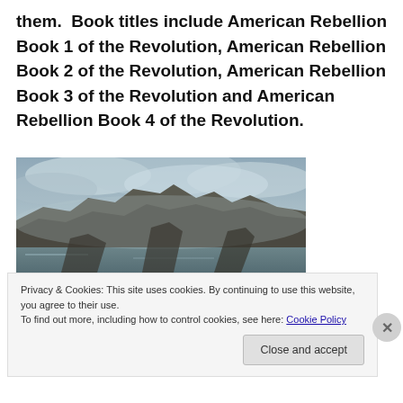them.  Book titles include American Rebellion Book 1 of the Revolution, American Rebellion Book 2 of the Revolution, American Rebellion Book 3 of the Revolution and American Rebellion Book 4 of the Revolution.
[Figure (photo): A dramatic landscape photo showing a rocky cliff or debris-covered hillside under stormy, foggy skies with ocean or mist in the background.]
Privacy & Cookies: This site uses cookies. By continuing to use this website, you agree to their use.
To find out more, including how to control cookies, see here: Cookie Policy